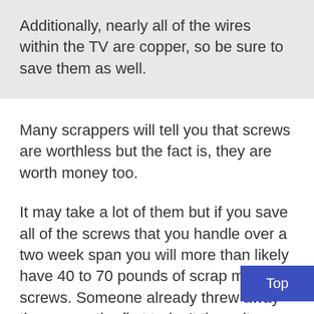Additionally, nearly all of the wires within the TV are copper, so be sure to save them as well.
Many scrappers will tell you that screws are worthless but the fact is, they are worth money too.
It may take a lot of them but if you save all of the screws that you handle over a two week span you will more than likely have 40 to 70 pounds of scrap metal screws. Someone already threw away the money the first t don't throw it away again, all metal is wo money.